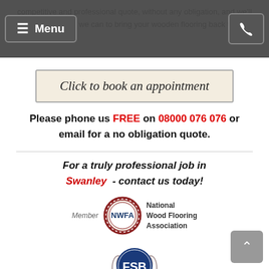competitive and professional quote, without any obligation, and we'll show you what we can to bring your wooden flooring back to its
[Figure (screenshot): Website navigation bar with Menu button on left and phone icon button on right, dark gray background]
[Figure (other): Button styled banner reading 'Click to book an appointment' in italic serif font on beige background with border]
Please phone us FREE on 08000 076 076 or email for a no obligation quote.
For a truly professional job in Swanley - contact us today!
[Figure (logo): National Wood Flooring Association (NWFA) member badge - circular red/brown seal with NWFA text, alongside text 'Member National Wood Flooring Association']
[Figure (logo): FSB (Federation of Small Businesses) member badge - circular blue badge with FSB initials and laurel wreath, text reads FEDERATION OF SMALL BUSINESSES MEMBER]